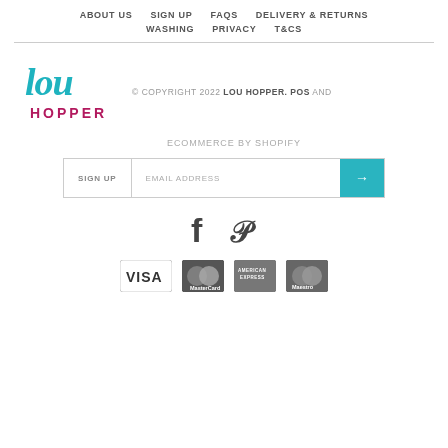ABOUT US  SIGN UP  FAQS  DELIVERY & RETURNS  WASHING  PRIVACY  T&CS
[Figure (logo): Lou Hopper brand logo in teal and magenta script]
© COPYRIGHT 2022 LOU HOPPER. POS AND ECOMMERCE BY SHOPIFY
SIGN UP  EMAIL ADDRESS →
[Figure (illustration): Facebook and Pinterest social media icons]
[Figure (illustration): Payment method icons: VISA, MasterCard, American Express, Maestro]